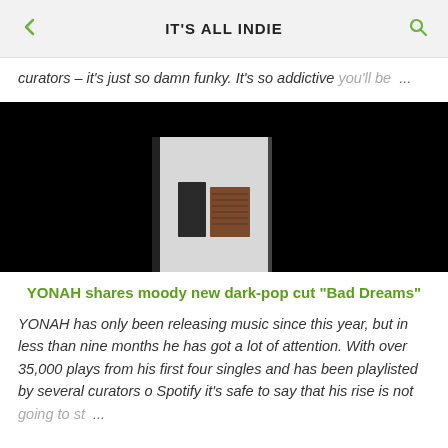IT'S ALL INDIE
curators – it's just so damn funky. It's so addictive you'll be ...
[Figure (photo): Album artwork photo on dark/black background showing a white and light grey abstract panel with dark rectangular objects in front, positioned left-center of frame.]
YONAH shares moody new dark-pop cut "Bad Dreams"
YONAH has only been releasing music since this year, but in less than nine months he has got a lot of attention. With over 35,000 plays from his first four singles and has been playlisted by several curators o Spotify it's safe to say that his rise is not going to st ...